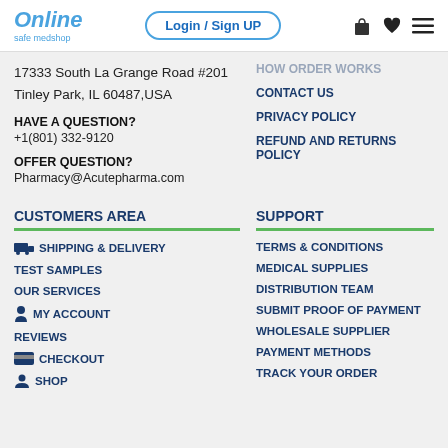Online safe medshop | Login / Sign UP
17333 South La Grange Road #201 Tinley Park, IL 60487,USA
HAVE A QUESTION?
+1(801) 332-9120
OFFER QUESTION?
Pharmacy@Acutepharma.com
HOW ORDER WORKS
CONTACT US
PRIVACY POLICY
REFUND AND RETURNS POLICY
CUSTOMERS AREA
SUPPORT
SHIPPING & DELIVERY
TEST SAMPLES
OUR SERVICES
MY ACCOUNT
REVIEWS
CHECKOUT
SHOP
TERMS & CONDITIONS
MEDICAL SUPPLIES
DISTRIBUTION TEAM
SUBMIT PROOF OF PAYMENT
WHOLESALE SUPPLIER
PAYMENT METHODS
TRACK YOUR ORDER